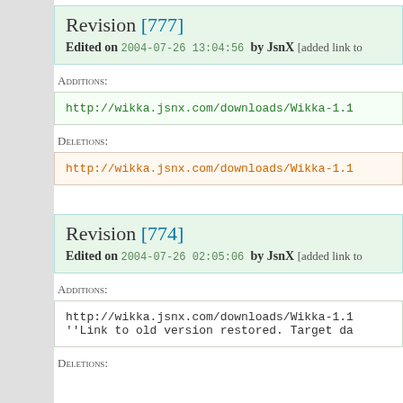Revision [777]
Edited on 2004-07-26 13:04:56 by JsnX [added link to
Additions:
http://wikka.jsnx.com/downloads/Wikka-1.1
Deletions:
http://wikka.jsnx.com/downloads/Wikka-1.1
Revision [774]
Edited on 2004-07-26 02:05:06 by JsnX [added link to
Additions:
http://wikka.jsnx.com/downloads/Wikka-1.1
''Link to old version restored. Target da
Deletions: